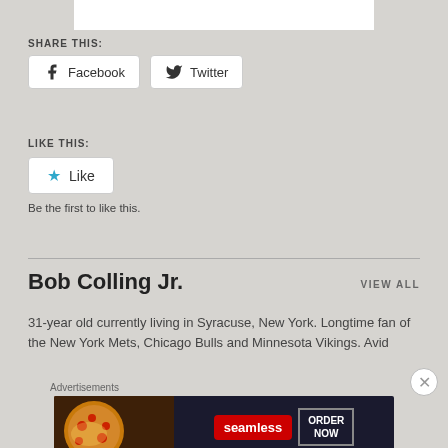SHARE THIS:
Facebook   Twitter
LIKE THIS:
★ Like
Be the first to like this.
Bob Colling Jr.
VIEW ALL
31-year old currently living in Syracuse, New York. Longtime fan of the New York Mets, Chicago Bulls and Minnesota Vikings. Avid
Advertisements
[Figure (other): Seamless food delivery advertisement banner with pizza image, Seamless logo in red, and ORDER NOW button]